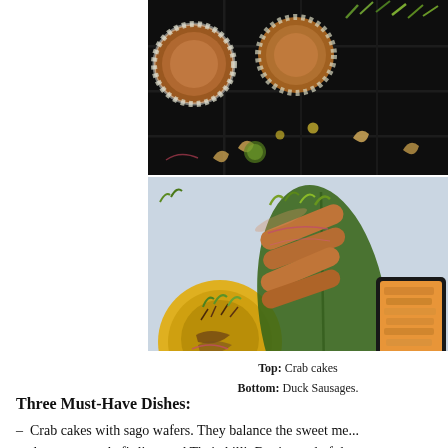[Figure (photo): Top photo: Crab cakes on dark/black background, plated with white garnish rings, microgreens, and cashews scattered around]
[Figure (photo): Bottom photo: Duck Sausages on a banana leaf with yellow curry bowl on left, microgreens, seeds, and toasted bread in the background, light blue background]
Top: Crab cakes
Bottom: Duck Sausages.
Three Must-Have Dishes:
Crab cakes with sago wafers. They balance the sweet me... lemon grass, kafir lime and Thai chilli. But instead of the...